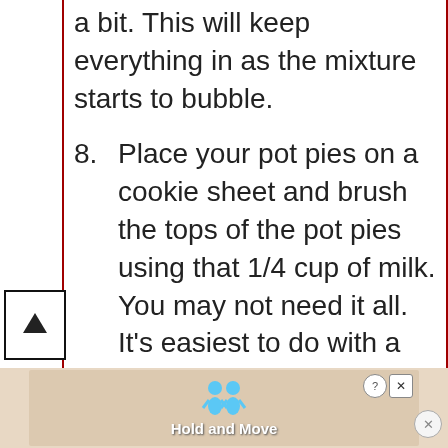a bit. This will keep everything in as the mixture starts to bubble.
8. Place your pot pies on a cookie sheet and brush the tops of the pot pies using that 1/4 cup of milk. You may not need it all. It's easiest to do with a basting brush, but you can also use a paper towel.
[Figure (other): Scroll-to-top button with upward arrow icon]
[Figure (other): Advertisement banner at the bottom with cartoon figures and text 'Hold and Move']